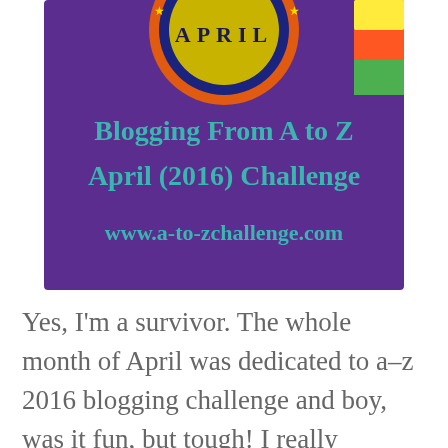[Figure (illustration): Blogging From A to Z April (2016) Challenge badge — a colorful circular logo on a purple background with teal text reading 'Blogging From A to Z April (2016) Challenge' and 'www.a-to-zchallenge.com']
Yes, I'm a survivor. The whole month of April was dedicated to a–z 2016 blogging challenge and boy, was it fun, but tough! I really enjoyed the experience...